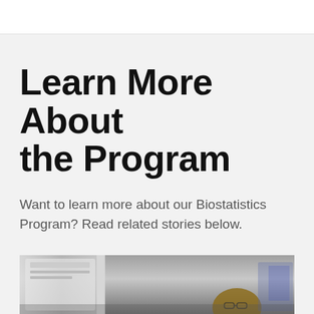Learn More About the Program
Want to learn more about our Biostatistics Program? Read related stories below.
[Figure (photo): A person in a laboratory setting with scientific equipment, partial view showing a bald individual near lab machinery]